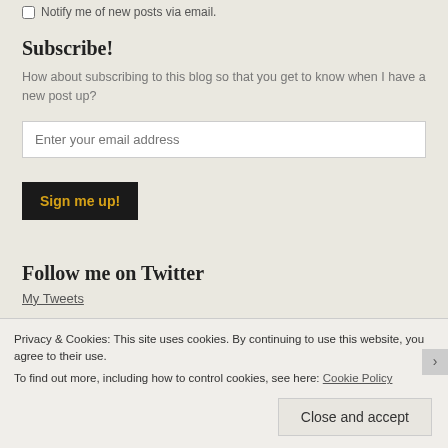Notify me of new posts via email.
Subscribe!
How about subscribing to this blog so that you get to know when I have a new post up?
Enter your email address
Sign me up!
Follow me on Twitter
My Tweets
Privacy & Cookies: This site uses cookies. By continuing to use this website, you agree to their use.
To find out more, including how to control cookies, see here: Cookie Policy
Close and accept